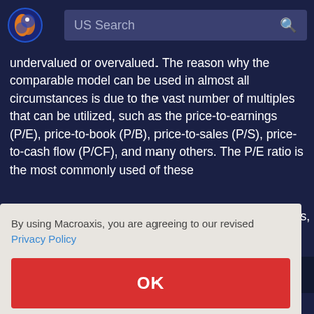US Search
undervalued or overvalued. The reason why the comparable model can be used in almost all circumstances is due to the vast number of multiples that can be utilized, such as the price-to-earnings (P/E), price-to-book (P/B), price-to-sales (P/S), price-to-cash flow (P/CF), and many others. The P/E ratio is the most commonly used of these
nings,
By using Macroaxis, you are agreeing to our revised Privacy Policy
OK
ales
ity
relative to its own past performance as well as to